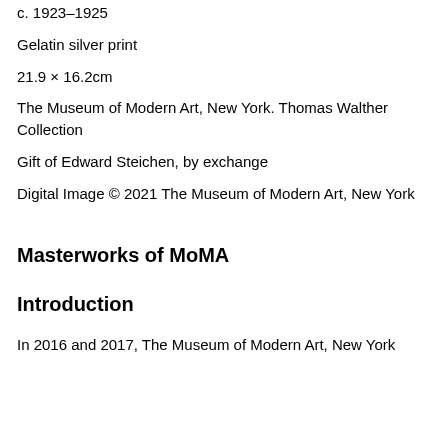c. 1923–1925
Gelatin silver print
21.9 × 16.2cm
The Museum of Modern Art, New York. Thomas Walther Collection
Gift of Edward Steichen, by exchange
Digital Image © 2021 The Museum of Modern Art, New York
Masterworks of MoMA
Introduction
In 2016 and 2017, The Museum of Modern Art, New York